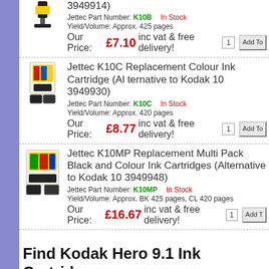3949914) Jettec Part Number: K10B  In Stock  Yield/Volume: Approx. 425 pages  Our Price: £7.10 inc vat & free delivery!
Jettec K10C Replacement Colour Ink Cartridge (Alternative to Kodak 10 3949930)  Jettec Part Number: K10C  In Stock  Yield/Volume: Approx. 420 pages  Our Price: £8.77 inc vat & free delivery!
Jettec K10MP Replacement Multi Pack Black and Colour Ink Cartridges (Alternative to Kodak 10 3949948)  Jettec Part Number: K10MP  In Stock  Yield/Volume: Approx. BK 425 pages, CL 420 pages  Our Price: £16.67 inc vat & free delivery!
Find Kodak Hero 9.1 Ink Cartridges
'They don't make printer like they use to' that's all we hear as some of the latest Kodak p... Many brands offer high specifications at a high price, but Kodak printers are best ones to... speed or pages per minute, resolutions and advanced functionality is available at afforda... high demand for Kodak machines and Kodak Hero 9.1 printer in particular. Similarly when it comes to find replacement cartridges, you don't have to go miles to find... Kodak Hero 9.1 printer. Inkraider has always offered best prices for Kodak Hero 9.1 ink... are UK's leading ink and toner resource for Kodak Hero 9.1 cartridges. Check out our ba... replacement cartridges.
Are you looking for Cheap Ink for Kodak Hero 9.1